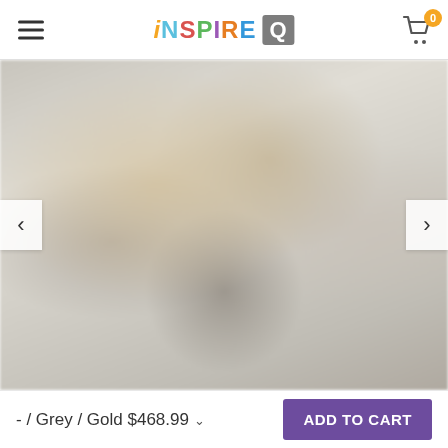iNSPIRE Q — website header with menu icon and shopping cart (0 items)
[Figure (photo): Blurred product lifestyle photo of a grey and gold bar cart/shelving unit displayed in a home interior setting. Navigation arrows (< and >) visible on left and right sides of the image.]
- / Grey / Gold $468.99 ▾
ADD TO CART